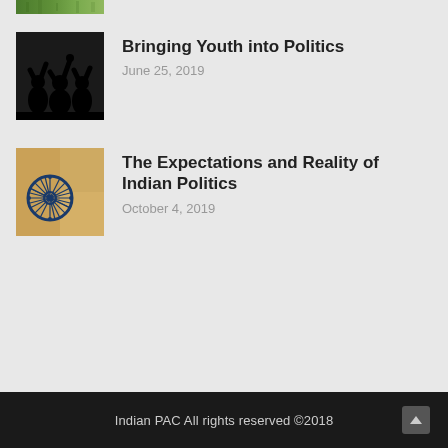[Figure (photo): Partial top green image strip cropped at top of page]
[Figure (photo): Black and white silhouette of people raising hands in protest or celebration]
Bringing Youth into Politics
June 25, 2019
[Figure (photo): Photo of Indian flag Ashoka Chakra wheel on aged paper background]
The Expectations and Reality of Indian Politics
October 4, 2019
Indian PAC All rights reserved ©2018